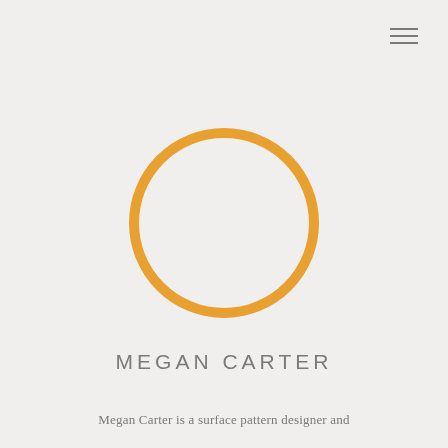[Figure (illustration): Hamburger menu icon with three horizontal lines in gray, positioned top right]
[Figure (illustration): Orange circle outline (ring) centered on the page, no fill inside, representing a profile photo placeholder]
MEGAN CARTER
Megan Carter is a surface pattern designer and